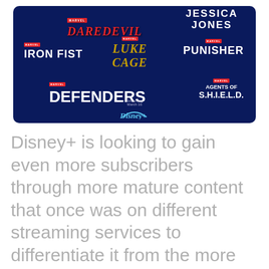[Figure (illustration): Dark blue promotional image showing Marvel TV show logos: Daredevil, Jessica Jones, Iron Fist, Luke Cage, Punisher, Defenders, Agents of S.H.I.E.L.D. with Disney+ branding at the bottom]
Disney+ is looking to gain even more subscribers through more mature content that once was on different streaming services to differentiate it from the more family-friendly streaming brand.